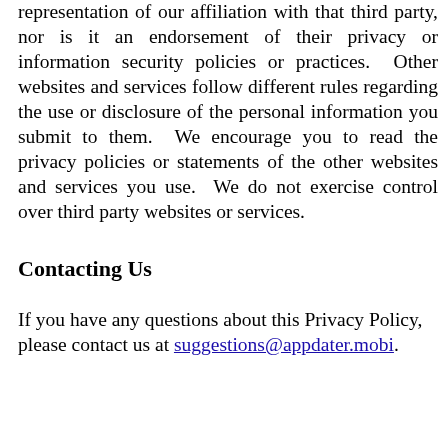representation of our affiliation with that third party, nor is it an endorsement of their privacy or information security policies or practices.  Other websites and services follow different rules regarding the use or disclosure of the personal information you submit to them.  We encourage you to read the privacy policies or statements of the other websites and services you use.  We do not exercise control over third party websites or services.
Contacting Us
If you have any questions about this Privacy Policy, please contact us at suggestions@appdater.mobi.